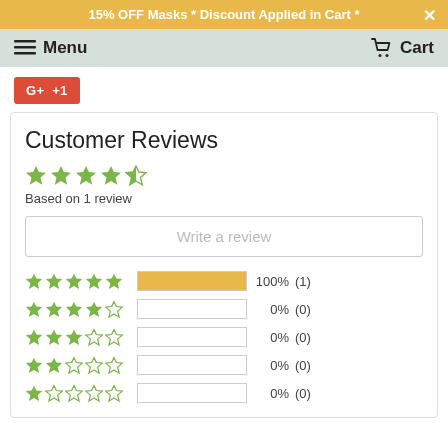15% OFF Masks * Discount Applied in Cart *
Menu   Cart
[Figure (other): Google+ +1 social button in red]
Customer Reviews
Based on 1 review
Write a review
5 stars: 100% (1), 4 stars: 0% (0), 3 stars: 0% (0), 2 stars: 0% (0), 1 star: 0% (0)